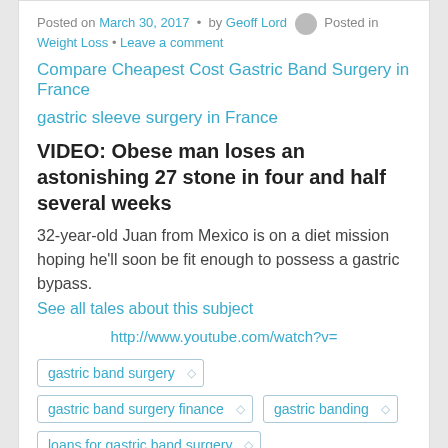Posted on March 30, 2017 • by Geoff Lord Posted in Weight Loss • Leave a comment
Compare Cheapest Cost Gastric Band Surgery in France
gastric sleeve surgery in France
VIDEO: Obese man loses an astonishing 27 stone in four and half several weeks
32-year-old Juan from Mexico is on a diet mission hoping he'll soon be fit enough to possess a gastric bypass.
See all tales about this subject
http://www.youtube.com/watch?v=
gastric band surgery
gastric band surgery finance
gastric banding
loans for gastric band surgery